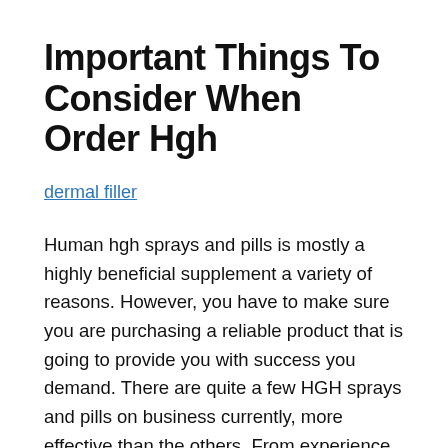Important Things To Consider When Order Hgh
dermal filler
Human hgh sprays and pills is mostly a highly beneficial supplement a variety of reasons. However, you have to make sure you are purchasing a reliable product that is going to provide you with success you demand. There are quite a few HGH sprays and pills on business currently, more effective than the others. From experience there are a few high